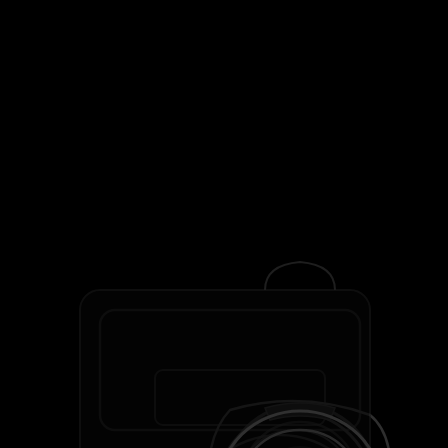[Figure (other): Dark/black background image with a faint circular/oval outline shape visible in the center-right area, resembling a camera lens or similar circular object rendered in very dark tones against a black background.]